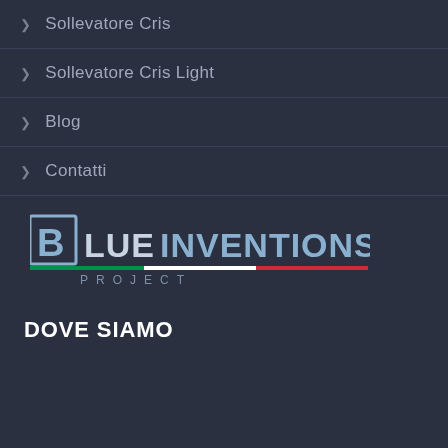> Sollevatore Cris
> Sollevatore Cris Light
> Blog
> Contatti
[Figure (logo): Blue Inventions Project logo with stylized B letter and Italian flag stripe]
DOVE SIAMO